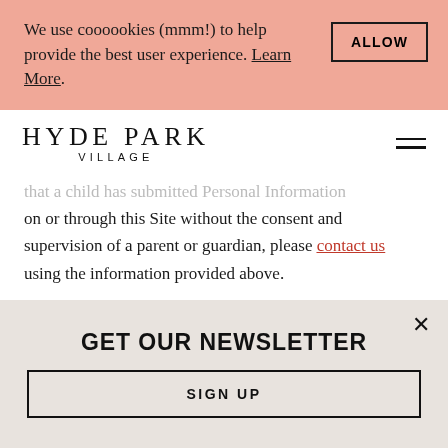We use coooookies (mmm!) to help provide the best user experience. Learn More.
HYDE PARK VILLAGE
that a child has submitted Personal Information on or through this Site without the consent and supervision of a parent or guardian, please contact us using the information provided above.
GET OUR NEWSLETTER
SIGN UP